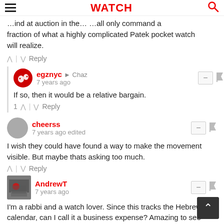WATCH
fraction of what a highly complicated Patek pocket watch will realize.
^ | v Reply
egznyc → Chaz
7 years ago
If so, then it would be a relative bargain.
1 ^ | v Reply
cheerss
7 years ago edited
I wish they could have found a way to make the movement visible. But maybe thats asking too much.
^ | v Reply
AndrewT
7 years ago
I'm a rabbi and a watch lover. Since this tracks the Hebrew calendar, can I call it a business expense? Amazing to see such magnificent technology track an ancient calendar. Sign me up for one!